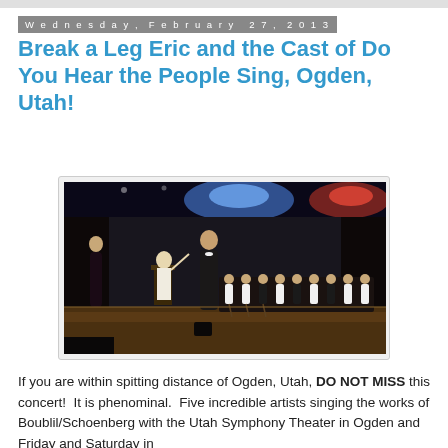Wednesday, February 27, 2013
Break a Leg Eric and the Cast of Do You Hear the People Sing, Ogden, Utah!
[Figure (photo): Concert stage photo showing performers on stage with an orchestra in the background, stage lighting with blue and red lights on the ceiling]
If you are within spitting distance of Ogden, Utah, DO NOT MISS this concert!  It is phenominal.  Five incredible artists singing the works of Boublil/Schoenberg with the Utah Symphony Theater in Ogden and Friday and Saturday in